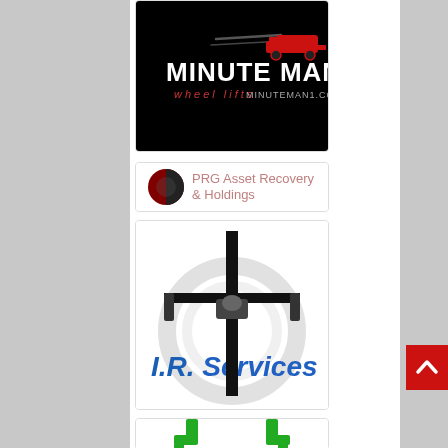[Figure (logo): Minute Man wheel lifts logo — black background with white bold text MINUTE MAN, red italic text 'wheel lifts MINUTEMAN1.COM', and a red pickup truck illustration with speed lines]
[Figure (logo): PRG Asset Recovery & Holdings logo — circular dark red and black icon on left with company name in pink/rose text on white background]
[Figure (logo): I.R. Services logo — black cross-like tow bar hardware illustration above blue chrome-style text 'I.R. Services' with silver swirl background on white]
[Figure (logo): Partial logo at bottom — showing green tow arm hooks on white background, partially cropped]